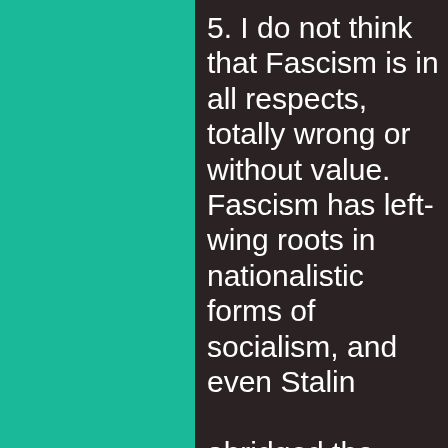[Figure (illustration): Solid teal/green rectangular panel occupying the left portion of the page]
5. I do not think that Fascism is in all respects, totally wrong or without value. Fascism has left-wing roots in nationalistic forms of socialism, and even Stalin

abridged the internationalist forms of socialism, and